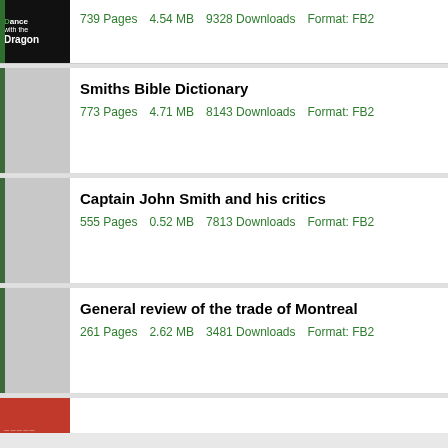[Figure (other): Partial book cover for 'Dance with the Dragon' - dark cover with green text]
739 Pages    4.54 MB    9328 Downloads    Format: FB2
Smiths Bible Dictionary
773 Pages    4.71 MB    8143 Downloads    Format: FB2
Captain John Smith and his critics
555 Pages    0.52 MB    7813 Downloads    Format: FB2
General review of the trade of Montreal
261 Pages    2.62 MB    3481 Downloads    Format: FB2
[Figure (other): Partial book cover - red cover, partially visible at bottom]